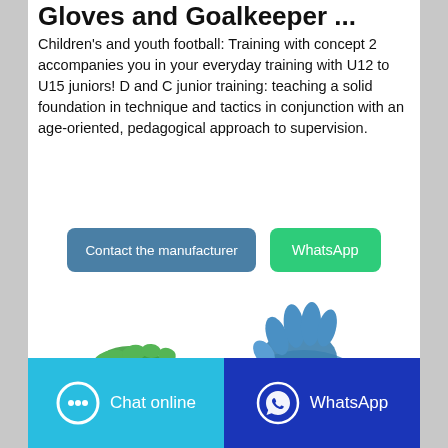Gloves and Goalkeeper ...
Children's and youth football: Training with concept 2 accompanies you in your everyday training with U12 to U15 juniors! D and C junior training: teaching a solid foundation in technique and tactics in conjunction with an age-oriented, pedagogical approach to supervision.
[Figure (screenshot): Two buttons: 'Contact the manufacturer' (blue-grey) and 'WhatsApp' (green)]
[Figure (photo): Green and blue goalkeeper gloves partially visible at bottom of page]
[Figure (screenshot): Bottom bar with two buttons: 'Chat online' (light blue with chat icon) and 'WhatsApp' (dark blue with WhatsApp icon)]